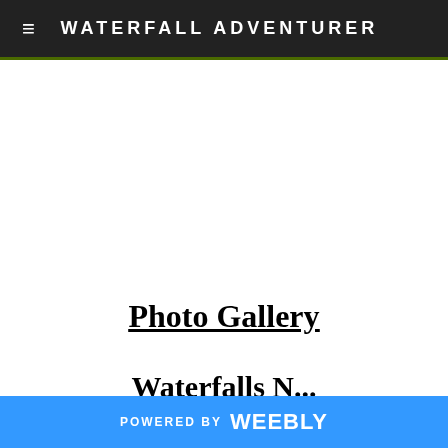WATERFALL ADVENTURER
Photo Gallery
Waterfalls N...
POWERED BY weebly